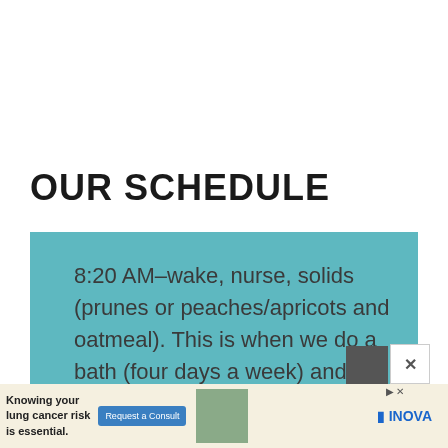OUR SCHEDULE
8:20 AM–wake, nurse, solids (prunes or peaches/apricots and oatmeal). This is when we do a bath (four days a week) and independent playtime. We
[Figure (other): Advertisement banner: 'Knowing your lung cancer risk is essential.' with a Request a Consult button and INOVA logo]